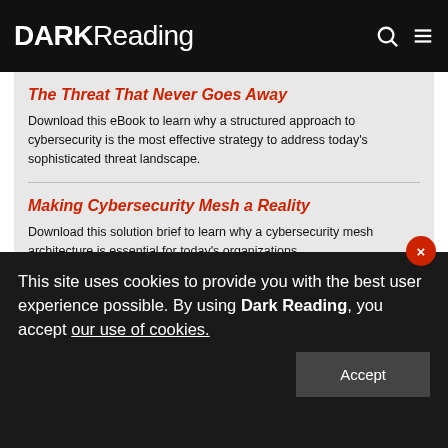DARK Reading
The Threat That Never Goes Away
Download this eBook to learn why a structured approach to cybersecurity is the most effective strategy to address today’s sophisticated threat landscape.
Making Cybersecurity Mesh a Reality
Download this solution brief to learn why a cybersecurity mesh architecture is essential for today’s organizations.
[Figure (infographic): Social media icons row: Facebook, Twitter, LinkedIn, YouTube]
This site uses cookies to provide you with the best user experience possible. By using Dark Reading, you accept our use of cookies.